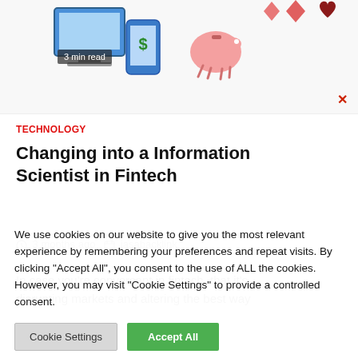[Figure (illustration): Hero image showing computer monitor, mobile phone with dollar sign, piggy bank, and card/heart shapes on a light background. Badge overlay reads '3 min read'.]
TECHNOLOGY
Changing into a Information Scientist in Fintech
3 months ago  jasabacklink
In case you're conversant in fintech, that it's disrupting markets and altering the best way
We use cookies on our website to give you the most relevant experience by remembering your preferences and repeat visits. By clicking “Accept All”, you consent to the use of ALL the cookies. However, you may visit "Cookie Settings" to provide a controlled consent.
Cookie Settings
Accept All